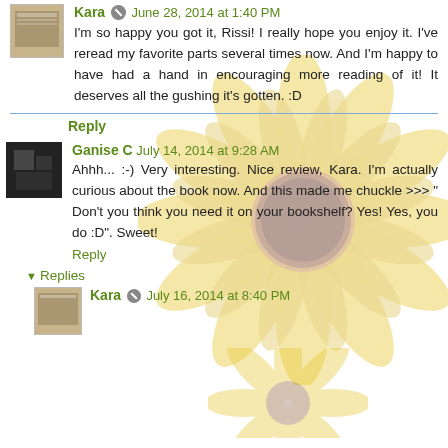[Figure (illustration): Yellow sunflower (gerbera daisy) watermark/background image, faded, centered-right on page]
Kara ✏ June 28, 2014 at 1:40 PM
I'm so happy you got it, Rissi! I really hope you enjoy it. I've reread my favorite parts several times now. And I'm happy to have had a hand in encouraging more reading of it! It deserves all the gushing it's gotten. :D
Reply
Ganise C  July 14, 2014 at 9:28 AM
Ahhh... :-) Very interesting. Nice review, Kara. I'm actually curious about the book now. And this made me chuckle >>> " Don't you think you need it on your bookshelf? Yes! Yes, you do :D". Sweet!
Reply
Replies
Kara ✏ July 16, 2014 at 8:40 PM